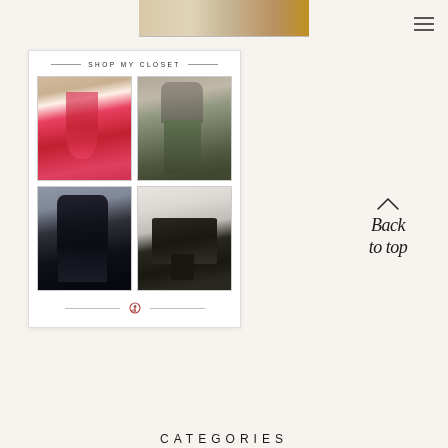[Figure (screenshot): Partial top banner with hamburger menu icon (three horizontal lines) in upper right corner, and partial fashion image strip visible at top center]
[Figure (infographic): Shop My Closet card with four fashion product images in a 2x2 grid: red wrap dress, snake print top with green pants, black mesh crop top with mini skirt, and black leather mule boots]
[Figure (illustration): Back to top button in handwritten script style with upward caret arrow, reading 'Back to top']
CATEGORIES